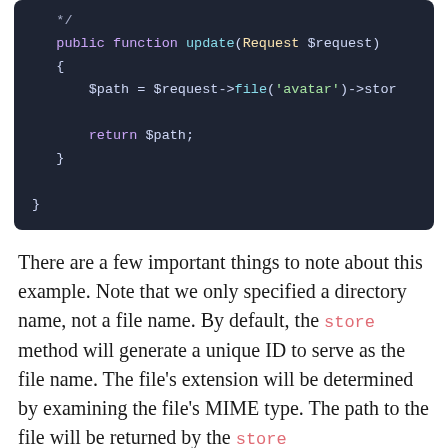[Figure (screenshot): Dark-themed code block showing a PHP public function update(Request $request) that stores a file path from the request avatar and returns it.]
There are a few important things to note about this example. Note that we only specified a directory name, not a file name. By default, the store method will generate a unique ID to serve as the file name. The file's extension will be determined by examining the file's MIME type. The path to the file will be returned by the store method.